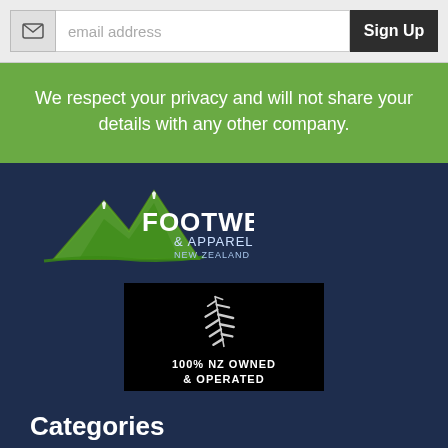[Figure (screenshot): Email signup bar with envelope icon, email address placeholder input field, and Sign Up button]
We respect your privacy and will not share your details with any other company.
[Figure (logo): Footwear & Apparel New Zealand Ltd logo with green mountain graphic]
[Figure (logo): 100% NZ Owned & Operated badge with silver fern on black background]
Categories
Footwear
*CLEARANCE*